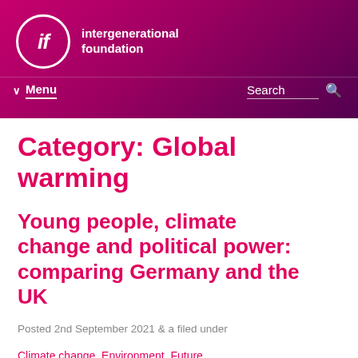intergenerational foundation
Category: Global warming
Young people, climate change and political power: comparing Germany and the UK
Posted 2nd September 2021 & a filed under
Climate change, Environment, Future